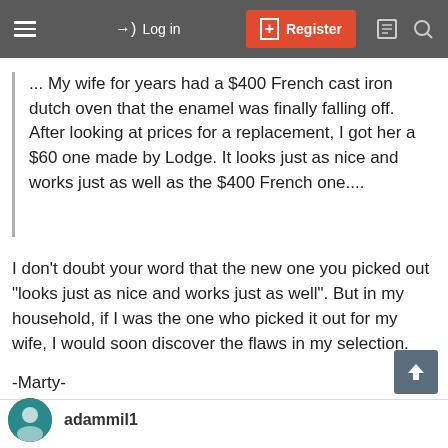≡  →) Log in  [+] Register  □  Q
... My wife for years had a $400 French cast iron dutch oven that the enamel was finally falling off. After looking at prices for a replacement, I got her a $60 one made by Lodge. It looks just as nice and works just as well as the $400 French one....
I don't doubt your word that the new one you picked out "looks just as nice and works just as well". But in my household, if I was the one who picked it out for my wife, I would soon discover the flaws in my selection.
-Marty-
adammil1